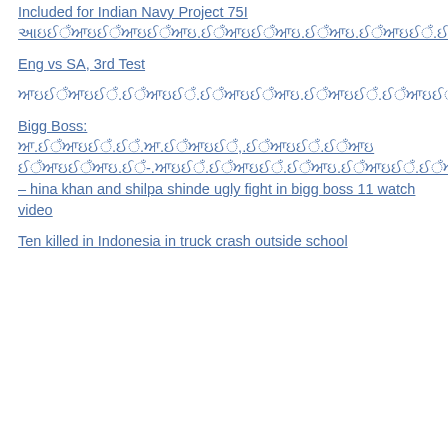Included for Indian Navy Project 75I આઇਈਁਆਇਈਁਆਇਈਁਆਇ.ਈਁਆਇਈਁਆਇ.ਈਁਆਇ.ਈਁਆਇਈਁ.ਈਁਆਇਈਁ.ਈਁਆਇਈਁਆਇ.ਈਁ
Eng vs SA, 3rd Test
ਆਇਈਁਆਇਈਁ.ਈਁਆਇਈਁ.ਈਁਆਇਈਁਆਇ.ਈਁਆਇਈਁ.ਈਁਆਇਈਁਆਇਈਁਆਇ.ਈਁਆਇ.ਈਁਆਇਈਁ.ਈਁਆਇਈਁਆਇ.ਈਁਆਇਈਁ.ਈਁਆਇ.ਈਁਆਇਈਁ.ਈਁਆਇਈਁਆ
Bigg Boss: ਆ.ਈਁਆਇਈਁ.ਈਁ.ਆ.ਈਁਆਇਈਁ,.ਈਁਆਇਈਁ.ਈਁਆਇ ਈਁਆਇਈਁਆਇ.ਈਁ-.ਆਇਈਁ.ਈਁਆਇਈਁ.ਈਁਆਇ.ਈਁਆਇਈਁ.ਈਁਆਇਈਁਆਇਈਁ.ਈਁਆਇ.,ਈਁਆਇਈਁ.ਈਁਆਇਈਁ.ਈਁਆਇਈਁ – hina khan and shilpa shinde ugly fight in bigg boss 11 watch video
Ten killed in Indonesia in truck crash outside school